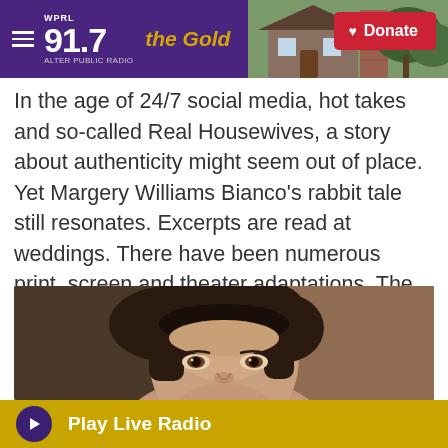WPRL 91.7 The Gold | Donate
In the age of 24/7 social media, hot takes and so-called Real Housewives, a story about authenticity might seem out of place. Yet Margery Williams Bianco's rabbit tale still resonates. Excerpts are read at weddings. There have been numerous print, screen and theater adaptations. The story has never gone out of print.
[Figure (photo): Close-up portrait photo of a young person with a short bob haircut, looking slightly upward, with a warm brownish-tinted background suggesting a vintage or sepia-style photograph.]
Play Live Radio